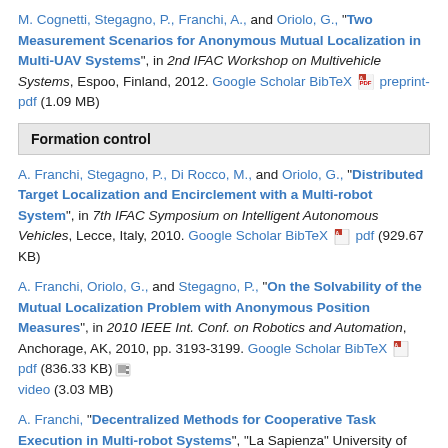M. Cognetti, Stegagno, P., Franchi, A., and Oriolo, G., "Two Measurement Scenarios for Anonymous Mutual Localization in Multi-UAV Systems", in 2nd IFAC Workshop on Multivehicle Systems, Espoo, Finland, 2012. Google Scholar BibTeX preprint-pdf (1.09 MB)
Formation control
A. Franchi, Stegagno, P., Di Rocco, M., and Oriolo, G., "Distributed Target Localization and Encirclement with a Multi-robot System", in 7th IFAC Symposium on Intelligent Autonomous Vehicles, Lecce, Italy, 2010. Google Scholar BibTeX pdf (929.67 KB)
A. Franchi, Oriolo, G., and Stegagno, P., "On the Solvability of the Mutual Localization Problem with Anonymous Position Measures", in 2010 IEEE Int. Conf. on Robotics and Automation, Anchorage, AK, 2010, pp. 3193-3199. Google Scholar BibTeX pdf (836.33 KB) video (3.03 MB)
A. Franchi, "Decentralized Methods for Cooperative Task Execution in Multi-robot Systems", "La Sapienza" University of Rome, 2009. Google Scholar BibTeX 2009-Franchi_PhDThesis.pdf (14.02 MB)
Exploration